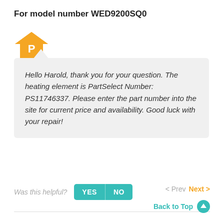For model number WED9200SQ0
[Figure (logo): Orange house icon with letter P, representing PartSelect logo]
Hello Harold, thank you for your question. The heating element is PartSelect Number: PS11746337. Please enter the part number into the site for current price and availability. Good luck with your repair!
Was this helpful? YES NO
< Prev  Next >
Back to Top